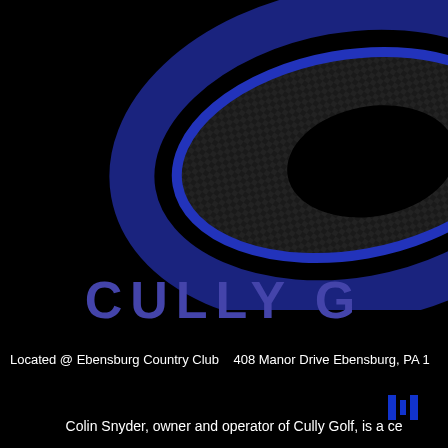[Figure (logo): Cully Golf logo — a dark navy blue elliptical ring (swoosh/oval shape) with carbon fiber texture interior, on black background. The left half of the logo is visible.]
CULLY G
Located @ Ebensburg Country Club   408 Manor Drive Ebensburg, PA 1
[Figure (logo): Small blue rectangular logo mark on right side]
Colin Snyder, owner and operator of Cully Golf, is a ce